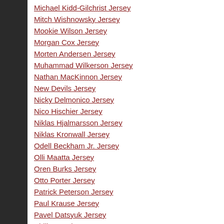Michael Kidd-Gilchrist Jersey
Mitch Wishnowsky Jersey
Mookie Wilson Jersey
Morgan Cox Jersey
Morten Andersen Jersey
Muhammad Wilkerson Jersey
Nathan MacKinnon Jersey
New Devils Jersey
Nicky Delmonico Jersey
Nico Hischier Jersey
Niklas Hjalmarsson Jersey
Niklas Kronwall Jersey
Odell Beckham Jr. Jersey
Olli Maatta Jersey
Oren Burks Jersey
Otto Porter Jersey
Patrick Peterson Jersey
Paul Krause Jersey
Pavel Datsyuk Jersey
Philipp Grubauer Jersey
Pittsburgh Steelers